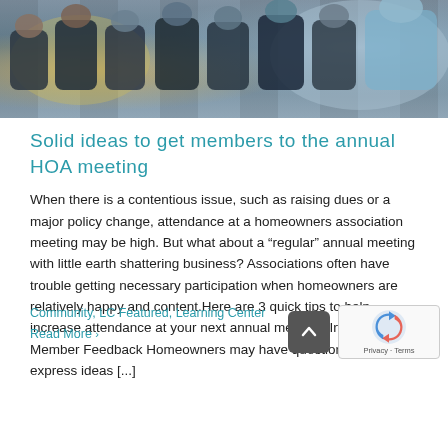[Figure (photo): People seated at a meeting, viewed from behind, in professional attire with blue and dark tones.]
Solid ideas to get members to the annual HOA meeting
When there is a contentious issue, such as raising dues or a major policy change, attendance at a homeowners association meeting may be high. But what about a “regular” annual meeting with little earth shattering business? Associations often have trouble getting necessary participation when homeowners are relatively happy and content.Here are 3 quick tips to help increase attendance at your next annual meeting. Incorporate Member Feedback Homeowners may have questions, or want to express ideas [...]
Community, LC Featured, Learning Center
Read More ›